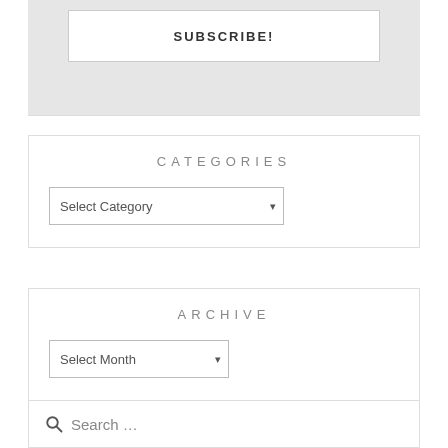SUBSCRIBE!
CATEGORIES
Select Category
ARCHIVE
Select Month
Search …